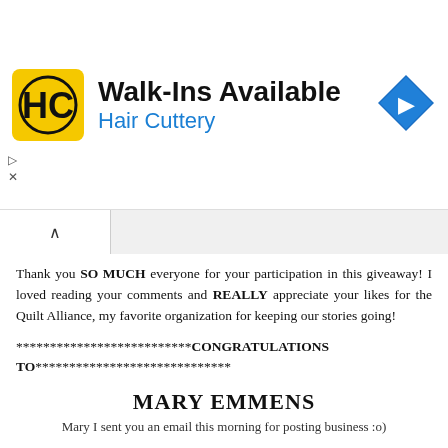[Figure (screenshot): Hair Cuttery advertisement banner with logo, 'Walk-Ins Available' text, and blue direction arrow icon]
Thank you SO MUCH everyone for your participation in this giveaway! I loved reading your comments and REALLY appreciate your likes for the Quilt Alliance, my favorite organization for keeping our stories going!
**************************CONGRATULATIONS TO*****************************
MARY EMMENS
Mary I sent you an email this morning for posting business :o)